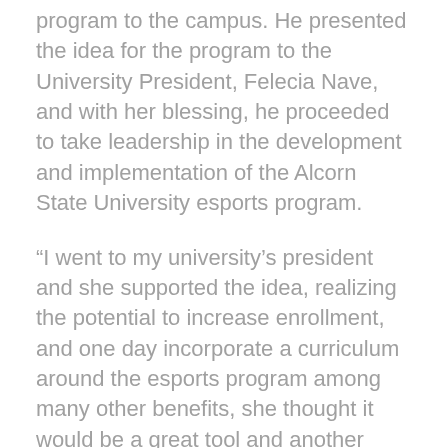program to the campus. He presented the idea for the program to the University President, Felecia Nave, and with her blessing, he proceeded to take leadership in the development and implementation of the Alcorn State University esports program.
“I went to my university’s president and she supported the idea, realizing the potential to increase enrollment, and one day incorporate a curriculum around the esports program among many other benefits, she thought it would be a great tool and another resource for our